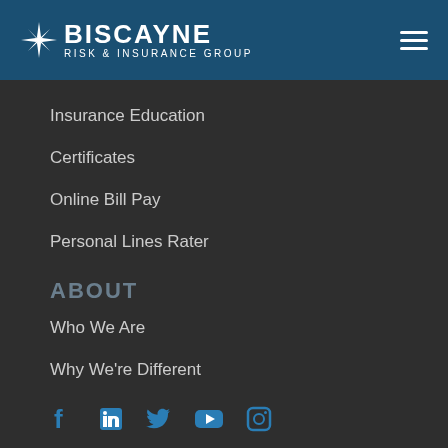BISCAYNE RISK & INSURANCE GROUP
Insurance Education
Certificates
Online Bill Pay
Personal Lines Rater
ABOUT
Who We Are
Why We're Different
[Figure (illustration): Social media icons: Facebook, LinkedIn, Twitter, YouTube, Instagram]